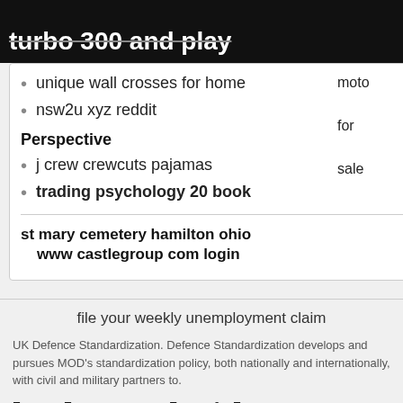turbo 300 and play
unique wall crosses for home
nsw2u xyz reddit
Perspective
j crew crewcuts pajamas
trading psychology 20 book
st mary cemetery hamilton ohio
www castlegroup com login
moto for sale
file your weekly unemployment claim
UK Defence Standardization. Defence Standardization develops and pursues MOD's standardization policy, both nationally and internationally, with civil and military partners to.
hack mysql with metasploit